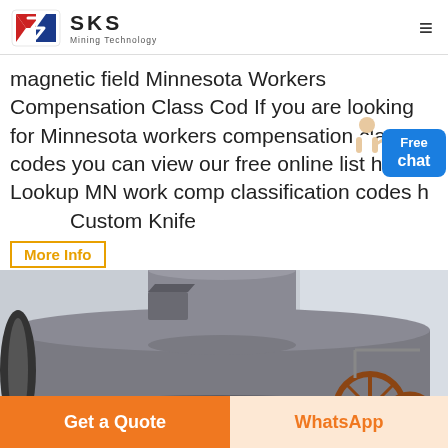SKS Mining Technology
magnetic field Minnesota Workers Compensation Class Cod If you are looking for Minnesota workers compensation class codes you can view our free online list here Lookup MN work comp classification codes he Custom Knife
More Info
[Figure (photo): Industrial mining equipment - large cylindrical separator/mill machine in grey, with a wheel-mounted cart visible in the background]
Get a Quote
WhatsApp